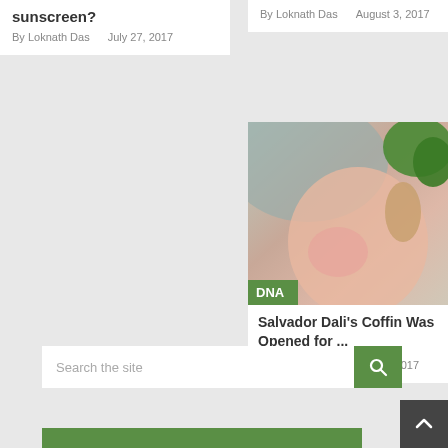sunscreen?
By Loknath Das    July 27, 2017
By Loknath Das    August 3, 2017
[Figure (photo): Close-up photo of a pregnant belly with someone holding broccoli, with a green DNA category badge overlay]
Salvador Dali's Coffin Was Opened for ...
By Loknath Das    July 21, 2017
Search the site